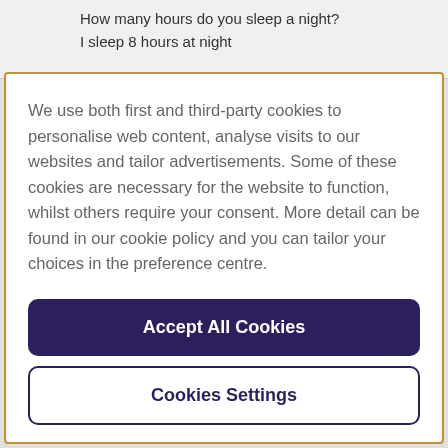How many hours do you sleep a night?
I sleep 8 hours at night
We use both first and third-party cookies to personalise web content, analyse visits to our websites and tailor advertisements. Some of these cookies are necessary for the website to function, whilst others require your consent. More detail can be found in our cookie policy and you can tailor your choices in the preference centre.
Accept All Cookies
Cookies Settings